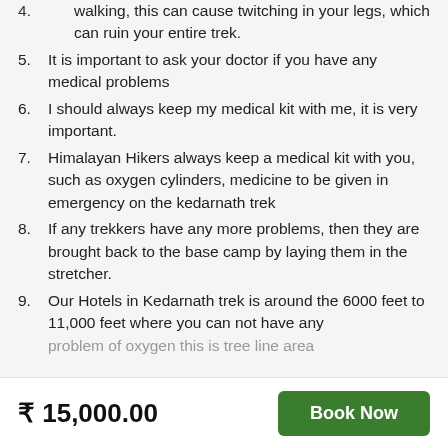walking, this can cause twitching in your legs, which can ruin your entire trek.
5. It is important to ask your doctor if you have any medical problems
6. I should always keep my medical kit with me, it is very important.
7. Himalayan Hikers always keep a medical kit with you, such as oxygen cylinders, medicine to be given in emergency on the kedarnath trek
8. If any trekkers have any more problems, then they are brought back to the base camp by laying them in the stretcher.
9. Our Hotels in Kedarnath trek is around the 6000 feet to 11,000 feet where you can not have any problem of oxygen this is tree line area
₹ 15,000.00
Book Now